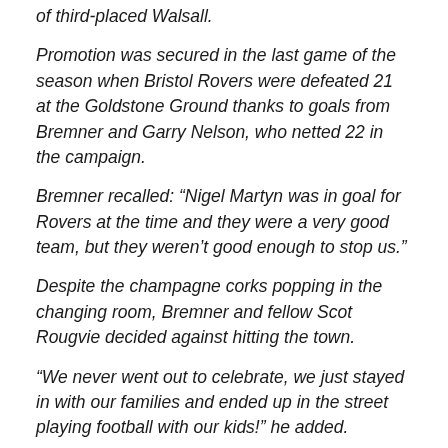of third-placed Walsall.
Promotion was secured in the last game of the season when Bristol Rovers were defeated 21 at the Goldstone Ground thanks to goals from Bremner and Garry Nelson, who netted 22 in the campaign.
Bremner recalled: “Nigel Martyn was in goal for Rovers at the time and they were a very good team, but they weren’t good enough to stop us.”
Despite the champagne corks popping in the changing room, Bremner and fellow Scot Rougvie decided against hitting the town.
“We never went out to celebrate, we just stayed in with our families and ended up in the street playing football with our kids!” he added.